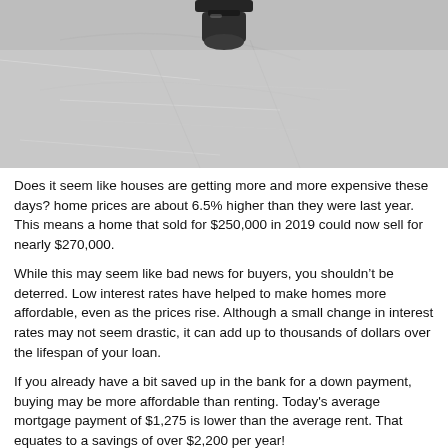[Figure (photo): Close-up photograph of architectural blueprints with a drafting tool or pen on top, shown in grayscale/sepia tones]
Does it seem like houses are getting more and more expensive these days? home prices are about 6.5% higher than they were last year. This means a home that sold for $250,000 in 2019 could now sell for nearly $270,000.
While this may seem like bad news for buyers, you shouldn't be deterred. Low interest rates have helped to make homes more affordable, even as the prices rise. Although a small change in interest rates may not seem drastic, it can add up to thousands of dollars over the lifespan of your loan.
If you already have a bit saved up in the bank for a down payment, buying may be more affordable than renting. Today's average mortgage payment of $1,275 is lower than the average rent. That equates to a savings of over $2,200 per year!